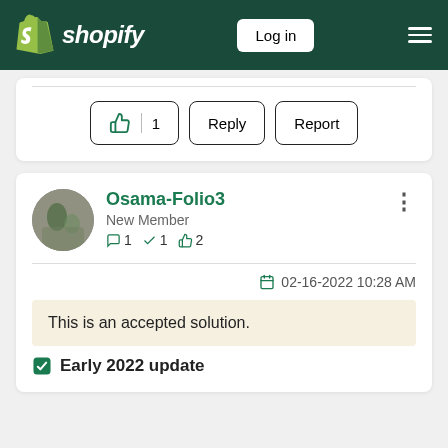shopify | Log in
[Figure (screenshot): Action buttons row: thumbs up with count 1, Reply button, Report button]
Osama-Folio3
New Member
1  1  2
02-16-2022 10:28 AM
This is an accepted solution.
Early 2022 update